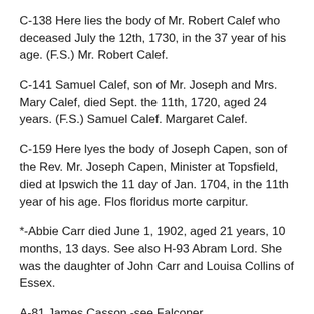C-138 Here lies the body of Mr. Robert Calef who deceased July the 12th, 1730, in the 37 year of his age. (F.S.) Mr. Robert Calef.
C-141 Samuel Calef, son of Mr. Joseph and Mrs. Mary Calef, died Sept. the 11th, 1720, aged 24 years. (F.S.) Samuel Calef. Margaret Calef.
C-159 Here lyes the body of Joseph Capen, son of the Rev. Mr. Joseph Capen, Minister at Topsfield, died at Ipswich the 11 day of Jan. 1704, in the 11th year of his age. Flos floridus morte carpitur.
*-Abbie Carr died June 1, 1902, aged 21 years, 10 months, 13 days. See also H-93 Abram Lord. She was the daughter of John Carr and Louisa Collins of Essex.
A-81 James Casson -see Falconer.